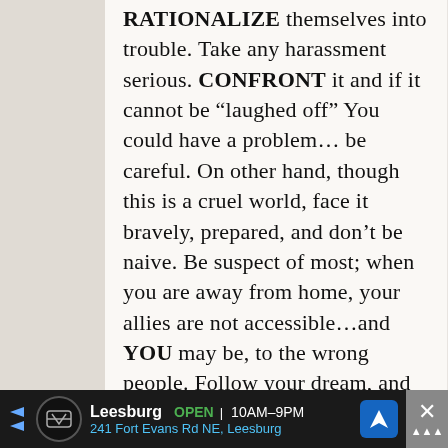RATIONALIZE themselves into trouble. Take any harassment serious. CONFRONT it and if it cannot be “laughed off” You could have a problem… be careful. On other hand, though this is a cruel world, face it bravely, prepared, and don’t be naive. Be suspect of most; when you are away from home, your allies are not accessible…and YOU may be, to the wrong people. Follow your dream, and continue entertaining folks in your unique way; but play it safe. Hold TRUE TO YOURSELF and your values and rely on your research and REAL INFORMATION.No need to risk going to a creep show for a
[Figure (screenshot): Advertisement bar: Leesburg store, OPEN 10AM-9PM, 241 Fort Evans Rd NE, Leesburg, with navigation icon and close button]